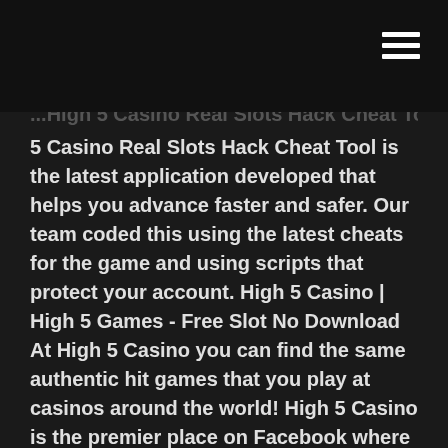High 5 Casino Real Slots Hack Cheat Tool High 5 Casino Real Slots Hack Cheat Tool is the latest application developed that helps you advance faster and safer. Our team coded this using the latest cheats for the game and using scripts that protect your account. High 5 Casino | High 5 Games - Free Slot No Download At High 5 Casino you can find the same authentic hit games that you play at casinos around the world! High 5 Casino is the premier place on Facebook where you can exclusively play a complete portfolio of real Vegas slots. Slot players can now access their favorite H5G games on Facebook for the very first time. Players are issued free coins on High 5 Casino: Free Vegas Slot Games - amazon.es Welcome to High 5 Casino, the Home of Slots! Join today and WIN BIG